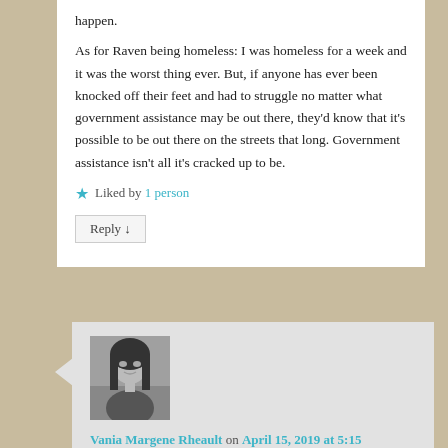happen.
As for Raven being homeless: I was homeless for a week and it was the worst thing ever. But, if anyone has ever been knocked off their feet and had to struggle no matter what government assistance may be out there, they'd know that it's possible to be out there on the streets that long. Government assistance isn't all it's cracked up to be.
Liked by 1 person
Reply ↓
[Figure (photo): Grayscale profile photo of Vania Margene Rheault, a woman with dark hair]
Vania Margene Rheault on April 15, 2019 at 5:15